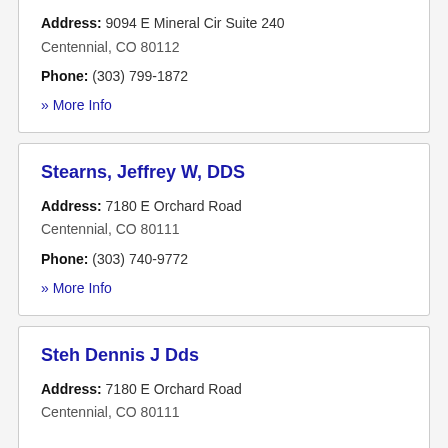Address: 9094 E Mineral Cir Suite 240
Centennial, CO 80112
Phone: (303) 799-1872
» More Info
Stearns, Jeffrey W, DDS
Address: 7180 E Orchard Road
Centennial, CO 80111
Phone: (303) 740-9772
» More Info
Steh Dennis J Dds
Address: 7180 E Orchard Road
Centennial, CO 80111